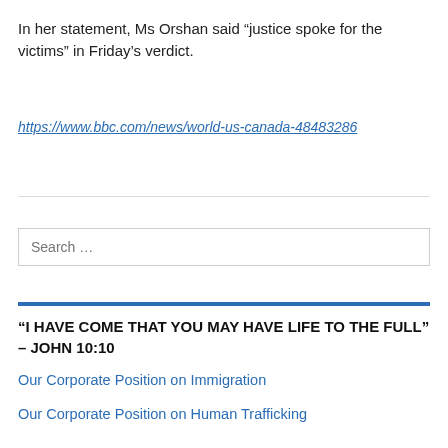In her statement, Ms Orshan said “justice spoke for the victims” in Friday’s verdict.
https://www.bbc.com/news/world-us-canada-48483286
Search …
“I HAVE COME THAT YOU MAY HAVE LIFE TO THE FULL” – JOHN 10:10
Our Corporate Position on Immigration
Our Corporate Position on Human Trafficking